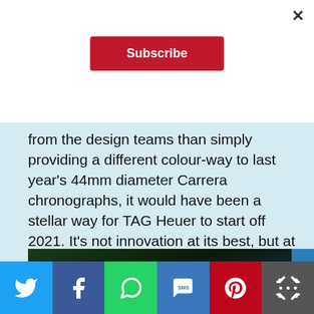×
Subscribe
from the design teams than simply providing a different colour-way to last year's 44mm diameter Carrera chronographs, it would have been a stellar way for TAG Heuer to start off 2021. It's not innovation at its best, but at least it's a promising enough start to this partnership. I look forward in anticipation to what's next.
[Figure (photo): Dark photograph partially visible at bottom of article]
[Figure (infographic): Social sharing bar with Twitter, Facebook, WhatsApp, SMS, Pinterest, and More buttons]